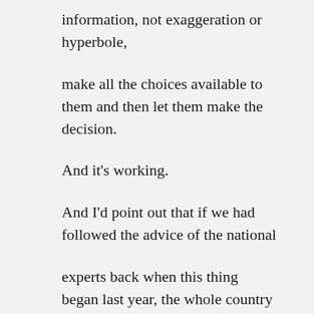information, not exaggeration or hyperbole,
make all the choices available to them and then let them make the decision.
And it's working.
And I'd point out that if we had followed the advice of the national
experts back when this thing began last year, the whole country would be
locked down. There are still